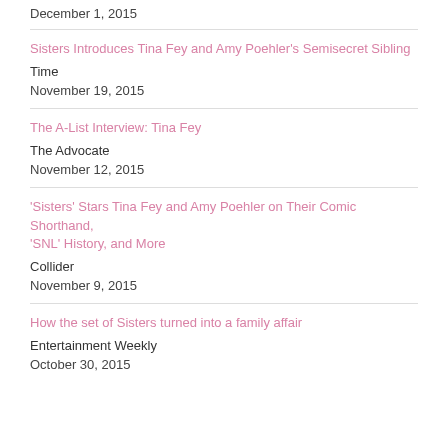December 1, 2015
Sisters Introduces Tina Fey and Amy Poehler's Semisecret Sibling
Time
November 19, 2015
The A-List Interview: Tina Fey
The Advocate
November 12, 2015
'Sisters' Stars Tina Fey and Amy Poehler on Their Comic Shorthand, 'SNL' History, and More
Collider
November 9, 2015
How the set of Sisters turned into a family affair
Entertainment Weekly
October 30, 2015